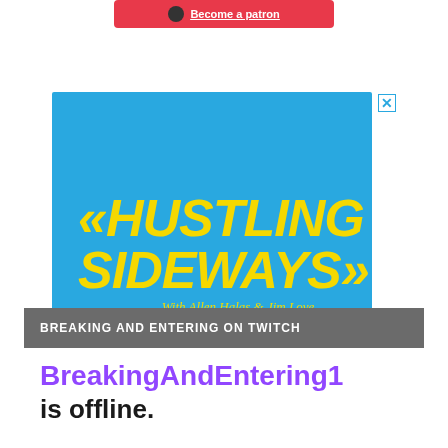[Figure (logo): Patreon button with 'Become a patron' text on a red/pink background]
[Figure (illustration): Advertisement banner with cyan/blue background showing the podcast 'Hustling Sideways' with yellow bold italic text and tagline 'With Allen Halas & Jim Love' with a close X button]
BREAKING AND ENTERING ON TWITCH
BreakingAndEntering1 is offline.